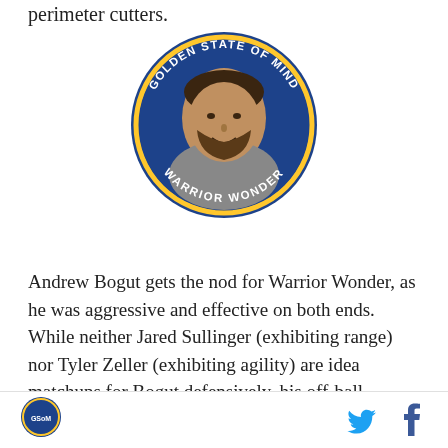perimeter cutters.
[Figure (logo): Golden State of Mind Warrior Wonder circular badge with basketball player photo in center, blue background with gold ring and white text]
Andrew Bogut gets the nod for Warrior Wonder, as he was aggressive and effective on both ends. While neither Jared Sullinger (exhibiting range) nor Tyler Zeller (exhibiting agility) are idea matchups for Bogut defensively, his off-ball defense was stellar as usual, while his offense gave them a spark — couple lefty hooks, a dive out layup, some assists out of the high
Golden State of Mind logo | Twitter icon | Facebook icon